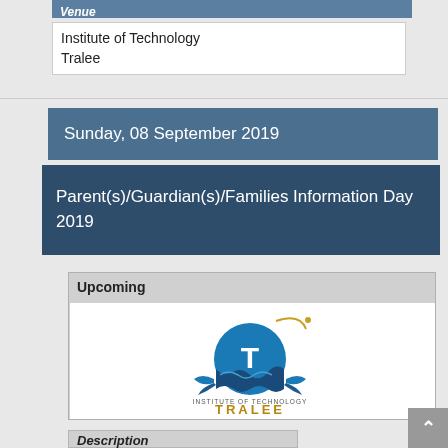Venue
Institute of Technology Tralee
Sunday, 08 September 2019
Parent(s)/Guardian(s)/Families Information Day 2019
Upcoming
[Figure (logo): Institute of Technology Tralee logo with T emblem, golden text TRALEE and Irish language subtitle]
Description